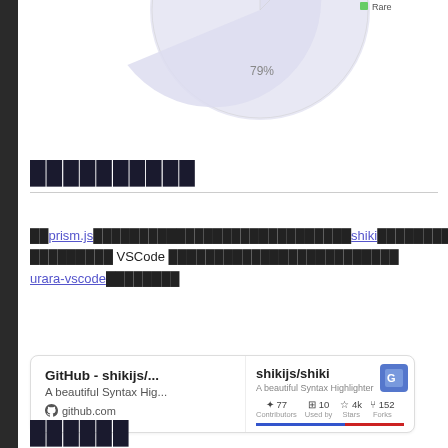[Figure (pie-chart): ]
シンタックスハイライト
従来prism.jsを使っていたが、より多くの言語とテーマをサポートするshikiに乗り換えた。テーマはお気に入り VSCode テーマをそのまま流用したかったため、urara-vscodeプラグインを使った。
[Figure (screenshot): GitHub card for shikijs/shiki - A beautiful Syntax Highlighter. Shows stats: 77 Contributors, 10 Used by, 4k Stars, 152 Forks.]
その他